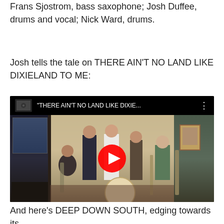Frans Sjostrom, bass saxophone; Josh Duffee, drums and vocal; Nick Ward, drums.
Josh tells the tale on THERE AIN'T NO LAND LIKE DIXIELAND TO ME:
[Figure (screenshot): YouTube video thumbnail for 'THERE AIN'T NO LAND LIKE DIXIE...' showing a jazz band performing in a room, with a red play button overlay in the center.]
And here's DEEP DOWN SOUTH, edging towards its